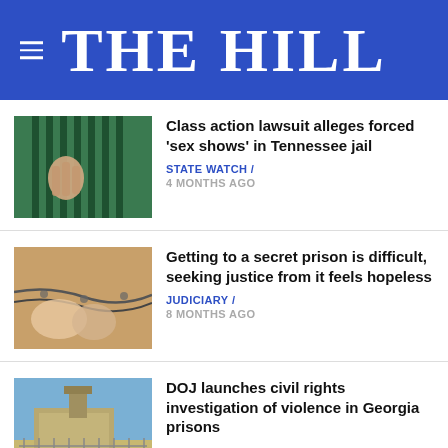THE HILL
Class action lawsuit alleges forced 'sex shows' in Tennessee jail
STATE WATCH / 4 MONTHS AGO
Getting to a secret prison is difficult, seeking justice from it feels hopeless
JUDICIARY / 8 MONTHS AGO
DOJ launches civil rights investigation of violence in Georgia prisons